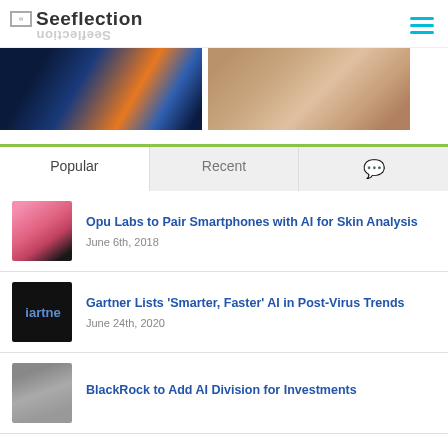Seeflection
[Figure (photo): Two images side by side: left shows an X-ray/medical illustration of lungs with orange tones; right shows a person with a tattoo on their arm]
Popular | Recent | (comment icon)
[Figure (photo): Article thumbnail showing a person with pink hair for 'Opu Labs to Pair Smartphones with AI for Skin Analysis']
Opu Labs to Pair Smartphones with AI for Skin Analysis
June 6th, 2018
[Figure (photo): Gartner logo thumbnail dark background]
Gartner Lists 'Smarter, Faster' AI in Post-Virus Trends
June 24th, 2020
[Figure (photo): BlackRock article thumbnail]
BlackRock to Add AI Division for Investments